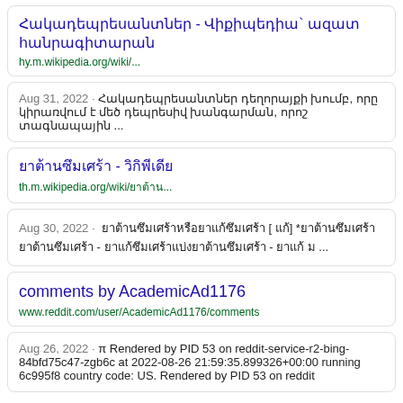Հակադեպրեսանտներ - Վիքիպեդիա` ազատ հանրագիտարան
hy.m.wikipedia.org/wiki/...
Aug 31, 2022 · Հակադեպրեսանտներ դեղորայքի խումբ, որը կիրառվում է մեծ դեպրեսիվ խանգարման, որոշ տագնապային ...
ยาต้านซึมเศร้า - วิกิพีเดีย
th.m.wikipedia.org/wiki/ยาต้าน...
Aug 30, 2022 · ยาต้านซึมเศร้าหรือยาแก้ซึมเศร้า [ แก้] *ยาต้านซึมเศร้า ยาต้านซึมเศร้า - ยาแก้ซึมเศร้าแบ่งยาต้านซึมเศร้า - ยาแก้ ม ...
comments by AcademicAd1176
www.reddit.com/user/AcademicAd1176/comments
Aug 26, 2022 · π Rendered by PID 53 on reddit-service-r2-bing-84bfd75c47-zgb6c at 2022-08-26 21:59:35.899326+00:00 running 6c995f8 country code: US. Rendered by PID 53 on reddit